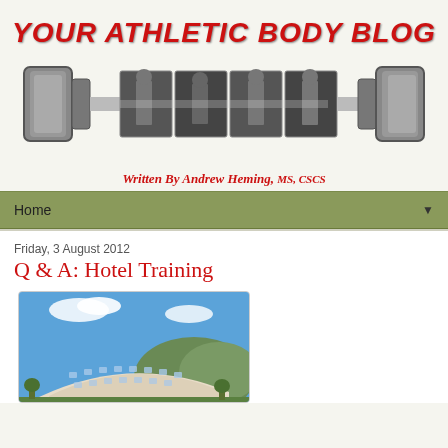[Figure (logo): Your Athletic Body Blog banner with barbell and athlete photos, written by Andrew Heming, MS, CSCS]
Home
Friday, 3 August 2012
Q & A: Hotel Training
[Figure (photo): Curved hotel building exterior against blue sky with mountains]